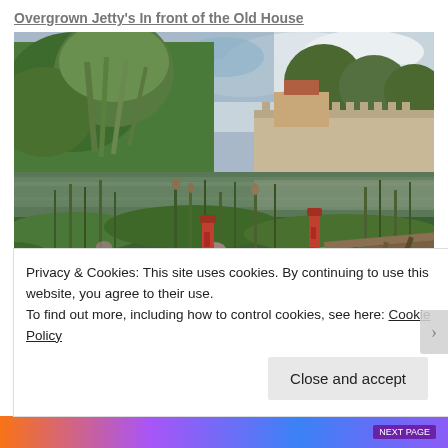Overgrown Jetty's In front of the Old House
[Figure (photo): Photograph of overgrown jetty with rusted red metal poles in foreground, dense green reeds and water plants, green river water, willow trees and stone arch bridge in background, partly cloudy sky.]
Privacy & Cookies: This site uses cookies. By continuing to use this website, you agree to their use.
To find out more, including how to control cookies, see here: Cookie Policy
Close and accept